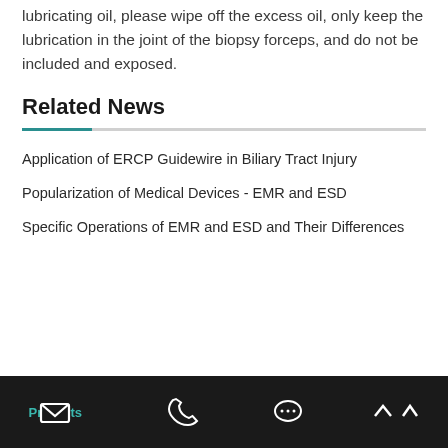endoscope housing or silicone oil. After applying the lubricating oil, please wipe off the excess oil, only keep the lubrication in the joint of the biopsy forceps, and do not be included and exposed.
Related News
Application of ERCP Guidewire in Biliary Tract Injury
Popularization of Medical Devices - EMR and ESD
Specific Operations of EMR and ESD and Their Differences
Pr...ts  [email icon] [phone icon] [chat icon] [up arrow icon]